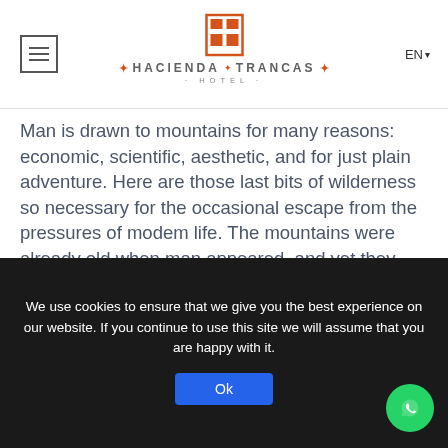Hacienda Trancas Hotel — EN
Man is drawn to mountains for many reasons: economic, scientific, aesthetic, and for just plain adventure. Here are those last bits of wilderness so necessary for the occasional escape from the pressures of modem life. The mountains were already old when man appeared, and yet they hold the challenge and the opportunity of the future.

This part of the Sierra Gorda is, as they say, off-the-beaten-track...
We use cookies to ensure that we give you the best experience on our website. If you continue to use this site we will assume that you are happy with it.
Ok